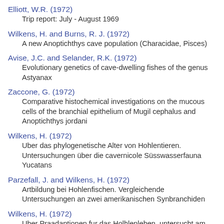Elliott, W.R. (1972)
Trip report: July - August 1969
Wilkens, H. and Burns, R. J. (1972)
A new Anoptichthys cave population (Characidae, Pisces)
Avise, J.C. and Selander, R.K. (1972)
Evolutionary genetics of cave-dwelling fishes of the genus Astyanax
Zaccone, G. (1972)
Comparative histochemical investigations on the mucous cells of the branchial epithelium of Mugil cephalus and Anoptichthys jordani
Wilkens, H. (1972)
Uber das phylogenetische Alter von Hohlentieren. Untersuchungen über die cavernicole Süsswasserfauna Yucatans
Parzefall, J. and Wilkens, H. (1972)
Artbildung bei Hohlenfischen. Vergleichende Untersuchungen an zwei amerikanischen Synbranchiden
Wilkens, H. (1972)
Uber Praadaptionen fur das Holhlenleben, untersucht am Laichverhalten ober- und unterirdischer Populationen des Astyanax mexicanus (Pisces)